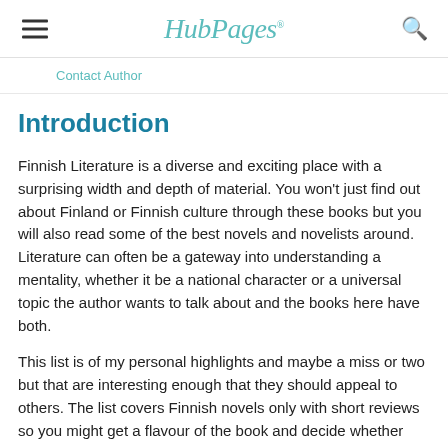HubPages
Contact Author
Introduction
Finnish Literature is a diverse and exciting place with a surprising width and depth of material. You won't just find out about Finland or Finnish culture through these books but you will also read some of the best novels and novelists around. Literature can often be a gateway into understanding a mentality, whether it be a national character or a universal topic the author wants to talk about and the books here have both.
This list is of my personal highlights and maybe a miss or two but that are interesting enough that they should appeal to others. The list covers Finnish novels only with short reviews so you might get a flavour of the book and decide whether they might suit you.